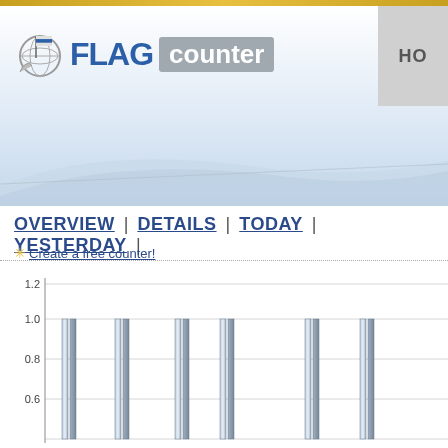[Figure (logo): Flag Counter logo with globe/flag icon, FLAG in blue bold text, counter in gray rounded box]
HO
OVERVIEW | DETAILS | TODAY | YESTERDAY |
✳ Create a free counter!
[Figure (bar-chart): Bar chart showing thin vertical bars at approximately value 1.0, with y-axis showing 0.6, 0.8, 1.0, 1.2 gridlines]